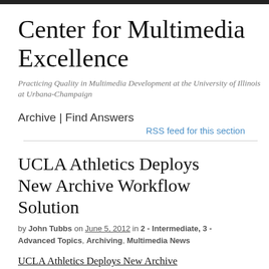Center for Multimedia Excellence
Practicing Quality in Multimedia Development at the University of Illinois at Urbana-Champaign
Archive | Find Answers
RSS feed for this section
UCLA Athletics Deploys New Archive Workflow Solution
by John Tubbs on June 5, 2012 in 2 - Intermediate, 3 - Advanced Topics, Archiving, Multimedia News
UCLA Athletics Deploys New Archive...